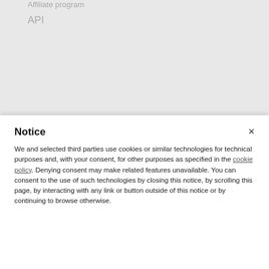Affiliate program
API
Notice
We and selected third parties use cookies or similar technologies for technical purposes and, with your consent, for other purposes as specified in the cookie policy. Denying consent may make related features unavailable. You can consent to the use of such technologies by closing this notice, by scrolling this page, by interacting with any link or button outside of this notice or by continuing to browse otherwise.